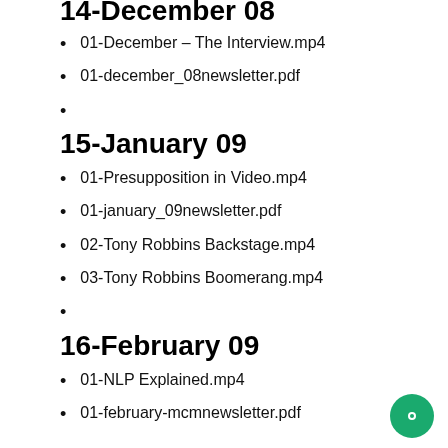14-December 08
01-December – The Interview.mp4
01-december_08newsletter.pdf
15-January 09
01-Presupposition in Video.mp4
01-january_09newsletter.pdf
02-Tony Robbins Backstage.mp4
03-Tony Robbins Boomerang.mp4
16-February 09
01-NLP Explained.mp4
01-february-mcmnewsletter.pdf